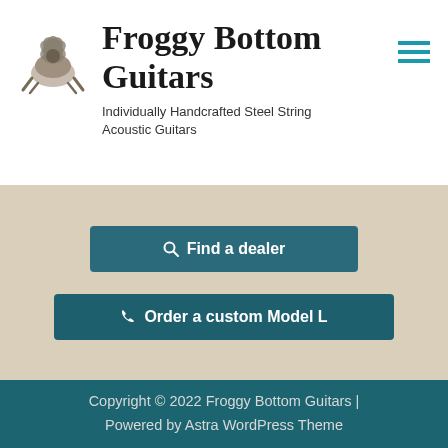Froggy Bottom Guitars — Individually Handcrafted Steel String Acoustic Guitars
Froggy Bottom Guitars
Individually Handcrafted Steel String Acoustic Guitars
Find a dealer
Order a custom Model L
Copyright © 2022 Froggy Bottom Guitars | Powered by Astra WordPress Theme